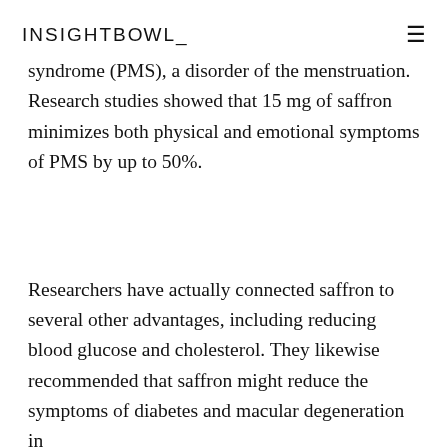INSIGHTBOWL
help eliminate the signs of premenstrual syndrome (PMS), a disorder of the menstruation. Research studies showed that 15 mg of saffron minimizes both physical and emotional symptoms of PMS by up to 50%.
Researchers have actually connected saffron to several other advantages, including reducing blood glucose and cholesterol. They likewise recommended that saffron might reduce the symptoms of diabetes and macular degeneration in